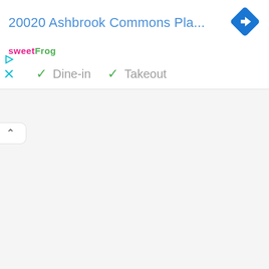20020 Ashbrook Commons Pla...
[Figure (logo): sweetFrog logo in pink and green text]
[Figure (other): Blue diamond navigation/directions icon with white right-turn arrow]
✓ Dine-in  ✓ Takeout
[Figure (other): Small icons for play and close (X) on left side]
[Figure (other): Collapsed panel tab with upward caret (^)]